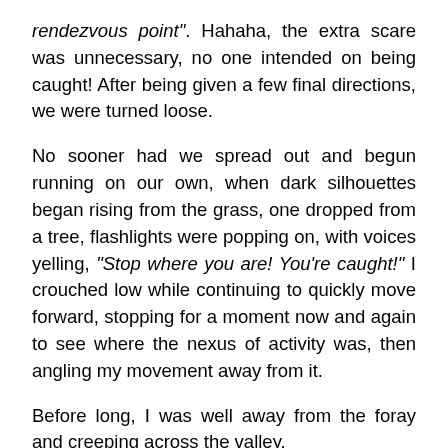rendezvous point". Hahaha, the extra scare was unnecessary, no one intended on being caught! After being given a few final directions, we were turned loose.
No sooner had we spread out and begun running on our own, when dark silhouettes began rising from the grass, one dropped from a tree, flashlights were popping on, with voices yelling, “Stop where you are! You’re caught!”  I crouched low while continuing to quickly move forward, stopping for a moment now and again to see where the nexus of activity was, then angling my movement away from it.
Before long, I was well away from the foray and creeping across the valley.
Now and again I saw a solitary form in the darkness